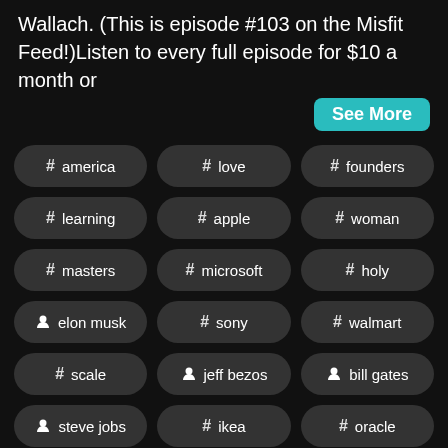Wallach. (This is episode #103 on the Misfit Feed!)Listen to every full episode for $10 a month or
See More
# america
# love
# founders
# learning
# apple
# woman
# masters
# microsoft
# holy
elon musk
# sony
# walmart
# scale
jeff bezos
bill gates
steve jobs
# ikea
# oracle
# ferrari
# upgrade
# intel
arnold schwarzenegger
# personally